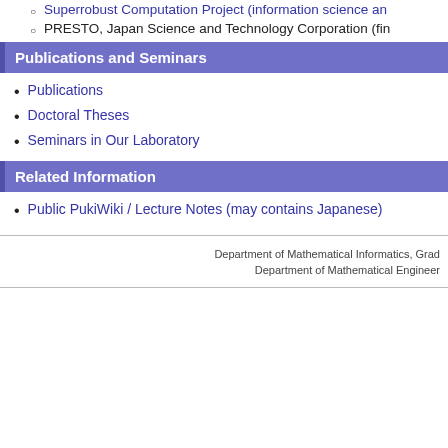Superrobust Computation Project (Information Science an...
PRESTO, Japan Science and Technology Corporation (fin...
Publications and Seminars
Publications
Doctoral Theses
Seminars in Our Laboratory
Related Information
Public PukiWiki / Lecture Notes (may contains Japanese)
Department of Mathematical Informatics, Grad...
Department of Mathematical Engineer...